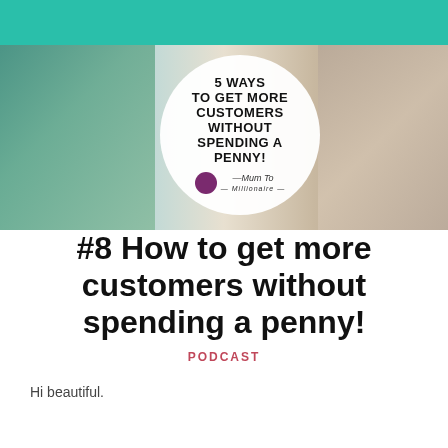[Figure (photo): Blog/podcast article header image showing a group of women at a restaurant table with a circular overlay graphic reading '5 WAYS TO GET MORE CUSTOMERS WITHOUT SPENDING A PENNY!' and a 'Mum To' logo.]
#8 How to get more customers without spending a penny!
PODCAST
Hi beautiful.